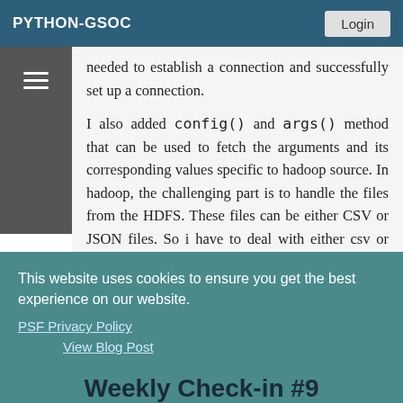PYTHON-GSOC
needed to establish a connection and successfully set up a connection.
I also added config() and args() method that can be used to fetch the arguments and its corresponding values specific to hadoop source. In hadoop, the challenging part is to handle the files from the HDFS. These files can be either CSV or JSON files. So i have to deal with either csv or json and I can
This website uses cookies to ensure you get the best experience on our website.
PSF Privacy Policy
View Blog Post
Got it!
Weekly Check-in #9